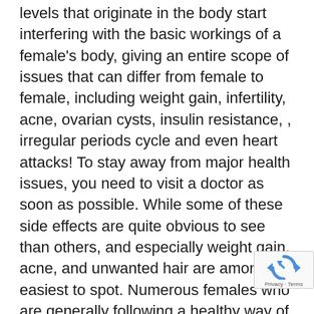levels that originate in the body start interfering with the basic workings of a female's body, giving an entire scope of issues that can differ from female to female, including weight gain, infertility, acne, ovarian cysts, insulin resistance, , irregular periods cycle and even heart attacks! To stay away from major health issues, you need to visit a doctor as soon as possible. While some of these side effects are quite obvious to see than others, and especially weight gain, acne, and unwanted hair are among the easiest to spot. Numerous females who are generally following a healthy way of life can be obstructed by this condition and gain weight considerably easily than they should. This can be depressing and can frequently lead them to abandon a healthy way of life for weight reduction and/or either take extreme step that should be avoided and it's unhealthy for their body. It's quite shocking to know that while Polycystic Ovary Syndrome is really common, many females don't know that they even have it and numerous specialists aren't able to help much as they just
[Figure (other): reCAPTCHA privacy badge with circular arrow icon and 'Privacy - Terms' text]